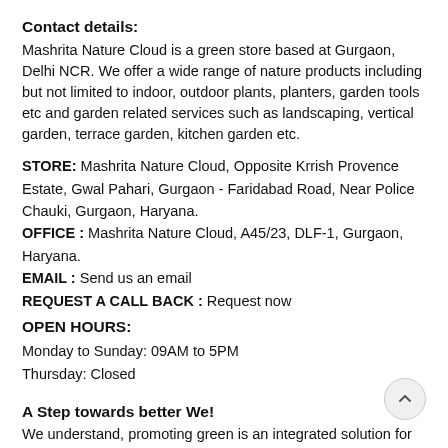Contact details:
Mashrita Nature Cloud is a green store based at Gurgaon, Delhi NCR. We offer a wide range of nature products including but not limited to indoor, outdoor plants, planters, garden tools etc and garden related services such as landscaping, vertical garden, terrace garden, kitchen garden etc.
STORE: Mashrita Nature Cloud, Opposite Krrish Provence Estate, Gwal Pahari, Gurgaon - Faridabad Road, Near Police Chauki, Gurgaon, Haryana.
OFFICE : Mashrita Nature Cloud, A45/23, DLF-1, Gurgaon, Haryana.
EMAIL : Send us an email
REQUEST A CALL BACK : Request now
OPEN HOURS:
Monday to Sunday: 09AM to 5PM
Thursday: Closed
A Step towards better We!
We understand, promoting green is an integrated solution for environmental problems. Mashrita.com established in the year